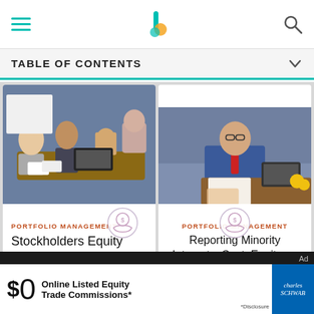TABLE OF CONTENTS
[Figure (photo): People sitting around a conference table with laptops, having a meeting]
PORTFOLIO MANAGEMENT
Stockholders Equity
[Figure (photo): Man in blue shirt and red tie writing or working at a desk with a laptop]
PORTFOLIO MANAGEMENT
Reporting Minority Interests: Cost, Equity, or Consolidation
[Figure (other): Charles Schwab advertisement: $0 Online Listed Equity Trade Commissions]